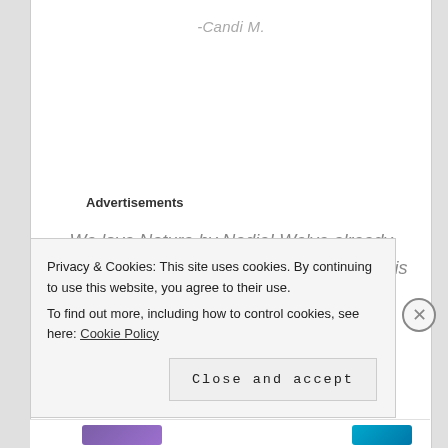-Candi M.
Advertisements
We love Nature by Nadia! We've already booked her for our holiday family photos this year and I'm so excited!
Privacy & Cookies: This site uses cookies. By continuing to use this website, you agree to their use. To find out more, including how to control cookies, see here: Cookie Policy
Close and accept